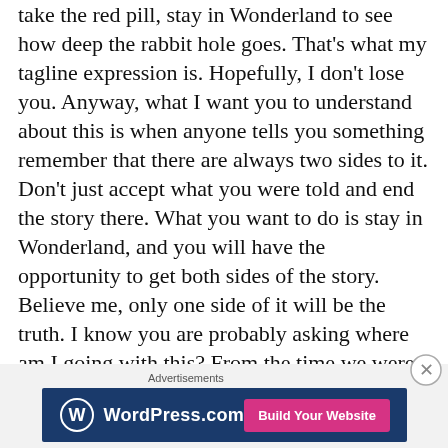take the red pill, stay in Wonderland to see how deep the rabbit hole goes. That’s what my tagline expression is. Hopefully, I don’t lose you. Anyway, what I want you to understand about this is when anyone tells you something remember that there are always two sides to it. Don’t just accept what you were told and end the story there. What you want to do is stay in Wonderland, and you will have the opportunity to get both sides of the story. Believe me, only one side of it will be the truth. I know you are probably asking where am I going with this? From the time we were born, we’ve learned a lot from our parents, school, and society. Many of us never once question anything but instead we just accept what they say as this
Advertisements
[Figure (other): WordPress.com advertisement banner with dark blue background, WordPress logo on the left and 'Build Your Website' pink button on the right]